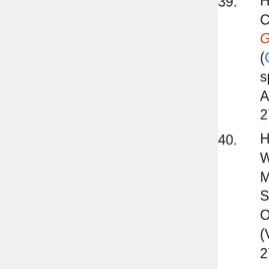39. Hsu, Tian-Chuan & Chen-Meng Kuo 2011 Gastrodia albida (Orchidaceae), a new species from Taiwan Ann. Bot. Fennici 48: 272-275
40. Hsu, Tian-Chuan, Shih-Wen Chung and Chen-Meng Kuo 2012 Supplements to the Orchid Flora of Taiwan (VI) Taiwania 57(3): 271-277 □ Flickingeria xantholeuca□Gastrodia clausa□Gastrodia confusoides□Nervilia